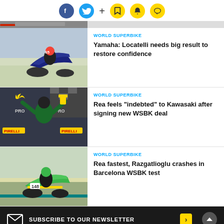Social share bar with Facebook, Twitter, bookmark, bell, and chat icons
[Figure (photo): Partial cropped motorcyclist image at top]
WORLD SUPERBIKE
Yamaha: Locatelli needs big result to restore confidence
[Figure (photo): Photo of a rider celebrating on a Kawasaki WSBK podium]
WORLD SUPERBIKE
Rea feels "indebted" to Kawasaki after signing new WSBK deal
[Figure (photo): Photo of a green Kawasaki superbike on track, Barcelona]
WORLD SUPERBIKE
Rea fastest, Razgatlioglu crashes in Barcelona WSBK test
SUBSCRIBE TO OUR NEWSLETTER